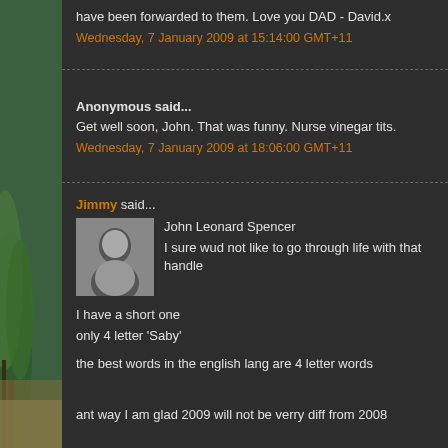have been forwarded to them. Love you DAD - David.x
Wednesday, 7 January 2009 at 15:14:00 GMT+11
Anonymous said...
Get well soon, John. That was funny. Nurse vinegar tits.
Wednesday, 7 January 2009 at 18:06:00 GMT+11
Jimmy said...
John Leonard Spencer
I sure wud not like to go through life with that handle

I have a short one
only 4 letter 'Saby'

the best words in the english lang are 4 letter words


ant way I am glad 2009 will not be verry diff from 2008